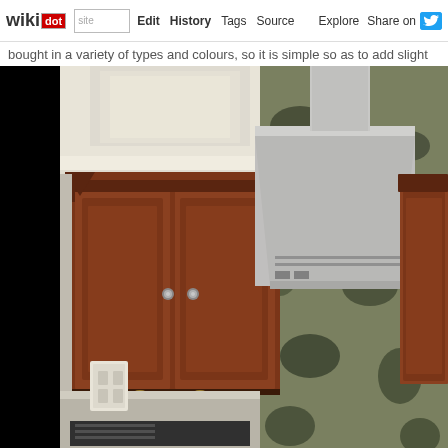wikidot | site Edit History Tags Source Explore Share on [twitter]
bought in a variety of types and colours, so it is simple so as to add slight
[Figure (photo): Kitchen interior photo showing dark cherry wood upper cabinets with crown molding, stainless steel range hood, green/black granite backsplash, and recessed ceiling lighting. Left portion of image is black (cropped/missing).]